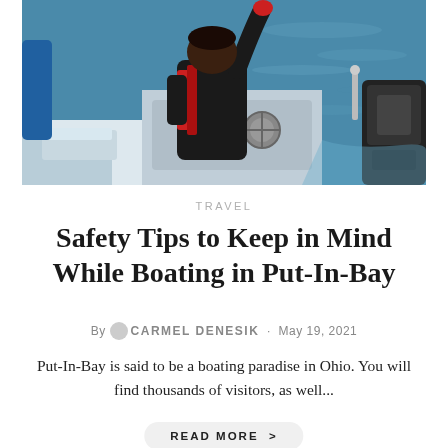[Figure (photo): Person in a red and black life jacket standing on a boat on blue water, viewed from behind, with a boat motor visible on the right.]
TRAVEL
Safety Tips to Keep in Mind While Boating in Put-In-Bay
By CARMEL DENESIK · May 19, 2021
Put-In-Bay is said to be a boating paradise in Ohio. You will find thousands of visitors, as well...
READ MORE >